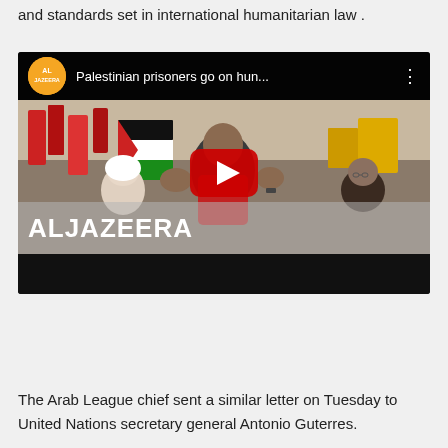and standards set in international humanitarian law .
[Figure (screenshot): Al Jazeera YouTube video embed showing Palestinian prisoners protest with crowds holding flags. Title reads: 'Palestinian prisoners go on hun...' with Al Jazeera logo and play button. ALJAZEERA watermark visible.]
The Arab League chief sent a similar letter on Tuesday to United Nations secretary general Antonio Guterres.